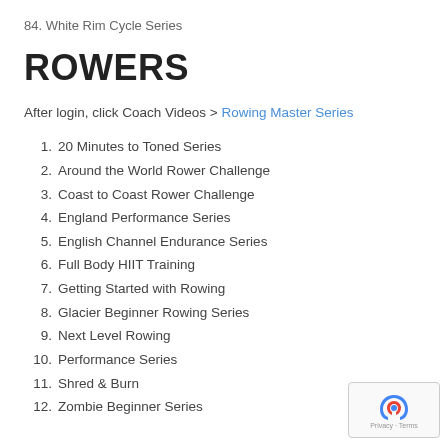84. White Rim Cycle Series
ROWERS
After login, click Coach Videos > Rowing Master Series
1. 20 Minutes to Toned Series
2. Around the World Rower Challenge
3. Coast to Coast Rower Challenge
4. England Performance Series
5. English Channel Endurance Series
6. Full Body HIIT Training
7. Getting Started with Rowing
8. Glacier Beginner Rowing Series
9. Next Level Rowing
10. Performance Series
11. Shred & Burn
12. Zombie Beginner Series